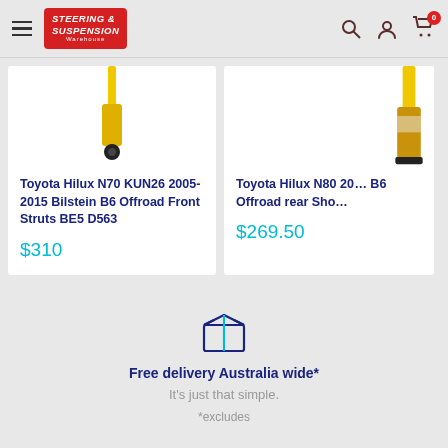Steering & Suspension Warehouse
[Figure (screenshot): Product image of Bilstein shock absorber (yellow, partially visible) for Toyota Hilux]
Toyota Hilux N70 KUN26 2005-2015 Bilstein B6 Offroad Front Struts BE5 D563
$310
[Figure (screenshot): Product image of Bilstein shock absorber (yellow/gold) for Toyota Hilux N80, partially cut off]
Toyota Hilux N80 2... B6 Offroad rear Sho...
$269.50
[Figure (illustration): Box/package delivery icon in dark blue outline style]
Free delivery Australia wide*
It's just that simple.
*excludes